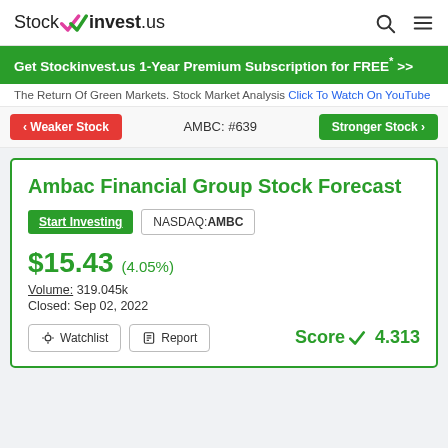Stock invest.us
Get Stockinvest.us 1-Year Premium Subscription for FREE* >>
The Return Of Green Markets. Stock Market Analysis Click To Watch On YouTube
< Weaker Stock   AMBC: #639   Stronger Stock >
Ambac Financial Group Stock Forecast
Start Investing   NASDAQ:AMBC
$15.43 (4.05%)
Volume: 319.045k
Closed: Sep 02, 2022
Watchlist   Report   Score 4.313